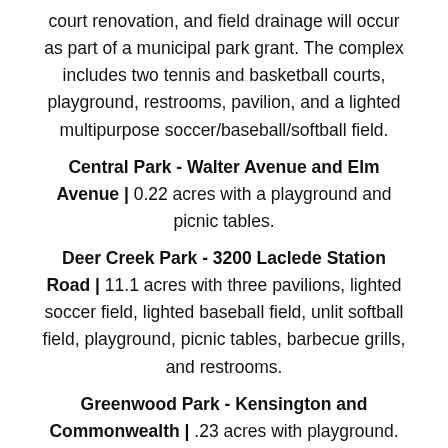court renovation, and field drainage will occur as part of a municipal park grant. The complex includes two tennis and basketball courts, playground, restrooms, pavilion, and a lighted multipurpose soccer/baseball/softball field.
Central Park - Walter Avenue and Elm Avenue | 0.22 acres with a playground and picnic tables.
Deer Creek Park - 3200 Laclede Station Road | 11.1 acres with three pavilions, lighted soccer field, lighted baseball field, unlit softball field, playground, picnic tables, barbecue grills, and restrooms.
Greenwood Park - Kensington and Commonwealth | .23 acres with playground.
Ivory High Park — St. Louis — acres with a...